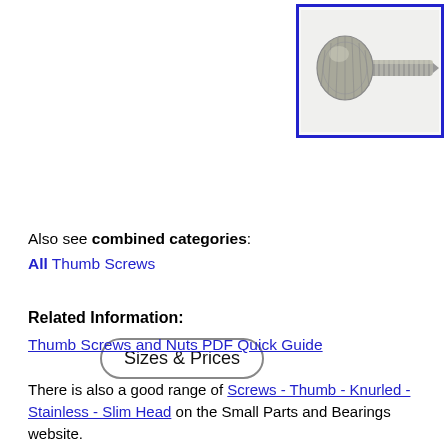[Figure (photo): Photograph of a knurled thumb screw with a disc-shaped head and threaded shaft, shown horizontally, inside a blue-bordered box.]
Sizes & Prices
Also see combined categories:
All Thumb Screws
Related Information:
Thumb Screws and Nuts PDF Quick Guide
There is also a good range of Screws - Thumb - Knurled - Stainless - Slim Head on the Small Parts and Bearings website.